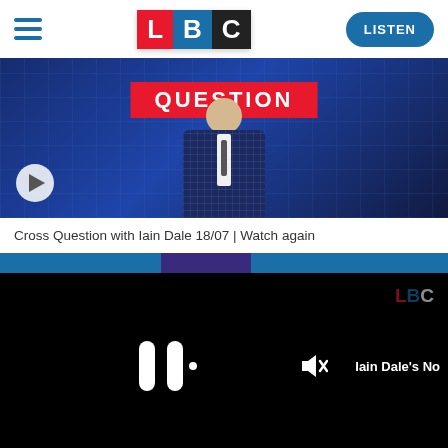LBC — LISTEN
[Figure (screenshot): LBC Cross Question with Iain Dale video thumbnail showing a man in a checked suit with a red QUESTION banner overlay and a play button.]
Cross Question with Iain Dale 18/07 | Watch again
[Figure (screenshot): LBC video player showing paused state with pause icon, mute icon, LBC watermark, and 'Iain Dale's No' text visible on black background with progress bar at bottom.]